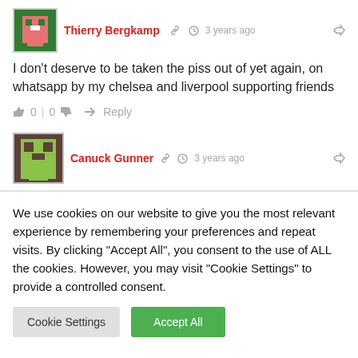Thierry Bergkamp  3 years ago
I don't deserve to be taken the piss out of yet again, on whatsapp by my chelsea and liverpool supporting friends
👍 0 | 0 👎  → Reply
Canuck Gunner  3 years ago
We use cookies on our website to give you the most relevant experience by remembering your preferences and repeat visits. By clicking "Accept All", you consent to the use of ALL the cookies. However, you may visit "Cookie Settings" to provide a controlled consent.
Cookie Settings | Accept All